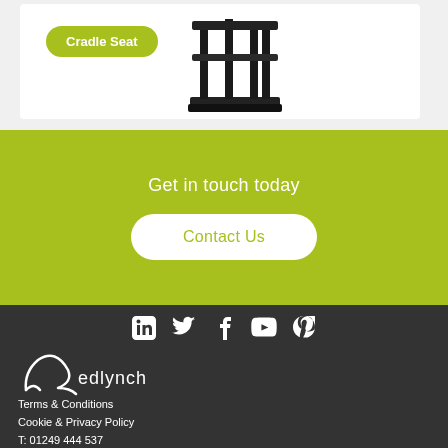[Figure (photo): Product card showing a black cradle seat playground equipment on white background]
Cradle Seat
[Figure (infographic): Green call-to-action section with text 'Get in touch today' and a 'Contact Us' button]
Get in touch today
Contact Us
[Figure (logo): Redlynch logo in white on dark background with social media icons]
Terms & Conditions
Cookie & Privacy Policy
T: 01249 444 537